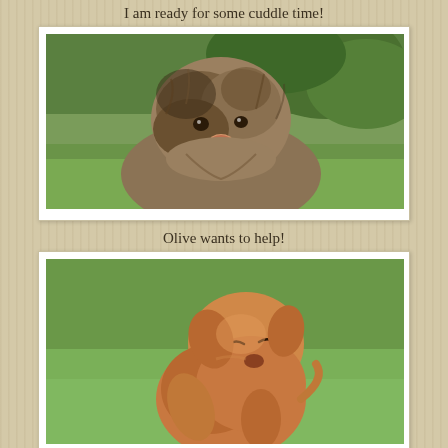I am ready for some cuddle time!
[Figure (photo): A fluffy brown/tan shaggy dog looking at the camera, sitting on grass with green foliage behind it.]
Olive wants to help!
[Figure (photo): A small golden/reddish-brown puppy sitting upright on grass, appearing to look sideways.]